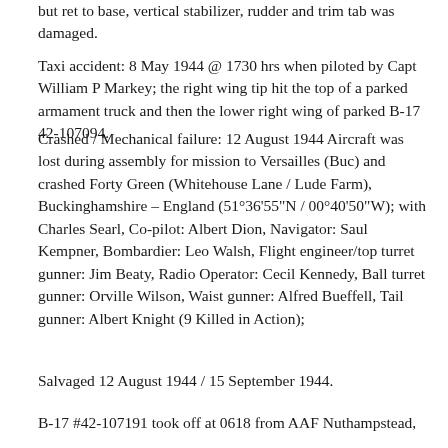but ret to base, vertical stabilizer, rudder and trim tab was damaged.
Taxi accident: 8 May 1944 @ 1730 hrs when piloted by Capt William P Markey; the right wing tip hit the top of a parked armament truck and then the lower right wing of parked B-17 42-107094.
Crashed / Mechanical failure: 12 August 1944 Aircraft was lost during assembly for mission to Versailles (Buc) and crashed Forty Green (Whitehouse Lane / Lude Farm), Buckinghamshire – England (51°36'55"N / 00°40'50"W); with Charles Searl, Co-pilot: Albert Dion, Navigator: Saul Kempner, Bombardier: Leo Walsh, Flight engineer/top turret gunner: Jim Beaty, Radio Operator: Cecil Kennedy, Ball turret gunner: Orville Wilson, Waist gunner: Alfred Bueffell, Tail gunner: Albert Knight (9 Killed in Action);
Salvaged 12 August 1944 / 15 September 1944.
B-17 #42-107191 took off at 0618 from AAF Nuthampstead,